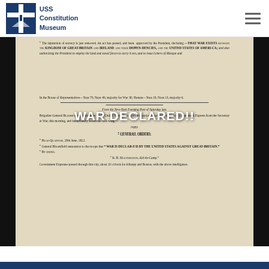USS Constitution Museum
[Figure (photo): Photograph of a historical newspaper broadside document on aged paper, announcing the declaration of war between the United States and the Kingdom of Great Britain and Ireland in 1812. Text overlay reads 'WAR DECLARED!!']